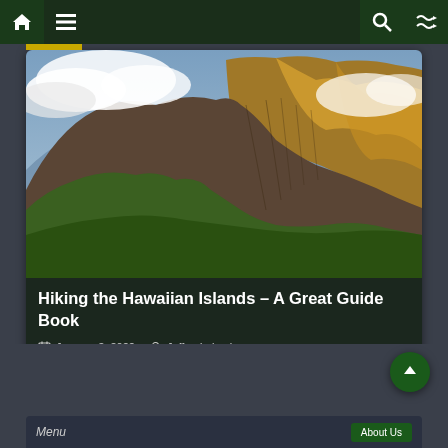Navigation bar with home, menu, search, and shuffle icons
[Figure (photo): Aerial/ground view of dramatic green Hawaiian mountain ridges (Na Pali Coast style) with steep cliffs, lush vegetation, and clouds above]
Hiking the Hawaiian Islands – A Great Guide Book
January 3, 2022   JeffreyLubeck
Scroll to top button
Menu / About Us (partially visible)